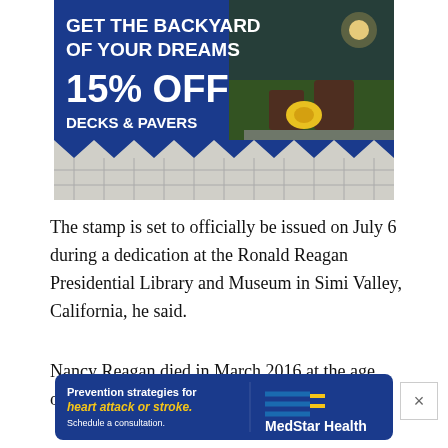[Figure (illustration): Advertisement: GET THE BACKYARD OF YOUR DREAMS 15% OFF DECKS & PAVERS with photo of outdoor patio with furniture and flowers at dusk, pavers pattern at bottom]
The stamp is set to officially be issued on July 6 during a dedication at the Ronald Reagan Presidential Library and Museum in Simi Valley, California, he said.
Nancy Reagan died in March 2016 at the age of 94.
[Figure (illustration): Advertisement: Prevention strategies for heart attack or stroke. Schedule a consultation. MedStar Health logo on dark blue rounded rectangle banner]